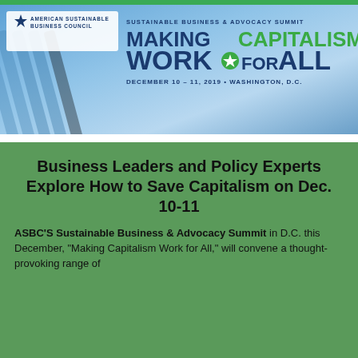[Figure (infographic): Banner for ASBC Sustainable Business & Advocacy Summit: Making Capitalism Work for All, December 10-11, 2019, Washington D.C. with blue gradient background, diagonal stripes, star logo, green top bar.]
Business Leaders and Policy Experts Explore How to Save Capitalism on Dec. 10-11
ASBC'S Sustainable Business & Advocacy Summit in D.C. this December, "Making Capitalism Work for All," will convene a thought-provoking range of